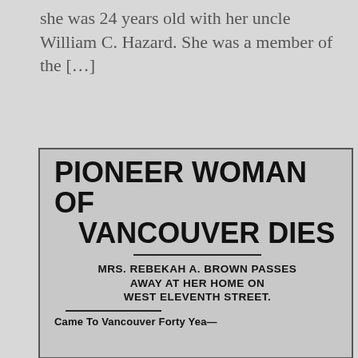she was 24 years old with her uncle William C. Hazard. She was a member of the […]
[Figure (photo): Scanned newspaper clipping with headline 'PIONEER WOMAN OF VANCOUVER DIES', subheadline 'MRS. REBEKAH A. BROWN PASSES AWAY AT HER HOME ON WEST ELEVENTH STREET.' and partial text 'Came to Vancouver Forty Yea—']